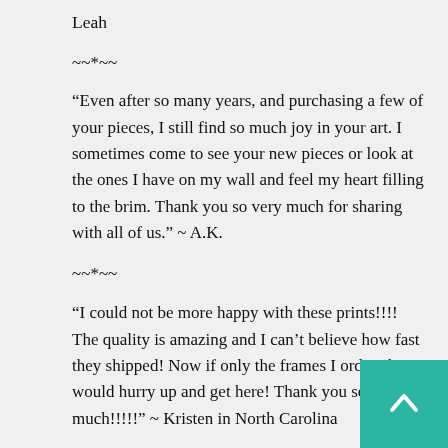Leah
~~*~~
“Even after so many years, and purchasing a few of your pieces, I still find so much joy in your art. I sometimes come to see your new pieces or look at the ones I have on my wall and feel my heart filling to the brim. Thank you so very much for sharing with all of us.” ~ A.K.
~~*~~
“I could not be more happy with these prints!!!! The quality is amazing and I can’t believe how fast they shipped! Now if only the frames I ordered would hurry up and get here! Thank you so much!!!!!” ~ Kristen in North Carolina
~~*~~
“This is an amazing one of a kind print that touched my heart and meant something to me as